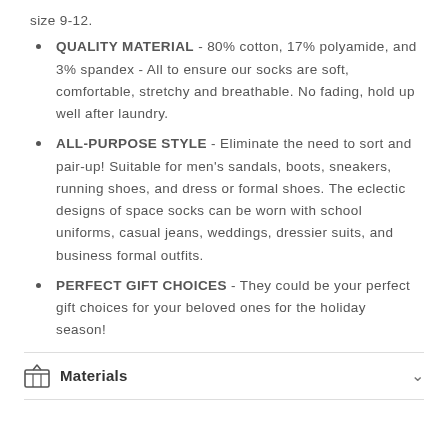size 9-12.
QUALITY MATERIAL - 80% cotton, 17% polyamide, and 3% spandex - All to ensure our socks are soft, comfortable, stretchy and breathable. No fading, hold up well after laundry.
ALL-PURPOSE STYLE - Eliminate the need to sort and pair-up! Suitable for men's sandals, boots, sneakers, running shoes, and dress or formal shoes. The eclectic designs of space socks can be worn with school uniforms, casual jeans, weddings, dressier suits, and business formal outfits.
PERFECT GIFT CHOICES - They could be your perfect gift choices for your beloved ones for the holiday season!
Materials